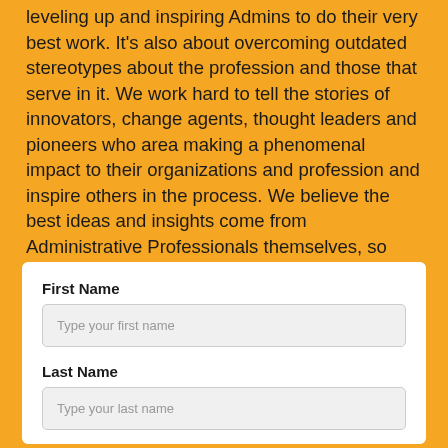leveling up and inspiring Admins to do their very best work. It's also about overcoming outdated stereotypes about the profession and those that serve in it. We work hard to tell the stories of innovators, change agents, thought leaders and pioneers who area making a phenomenal impact to their organizations and profession and inspire others in the process. We believe the best ideas and insights come from Administrative Professionals themselves, so that's what you'll find here.
First Name
Type your first name
Last Name
Type your last name